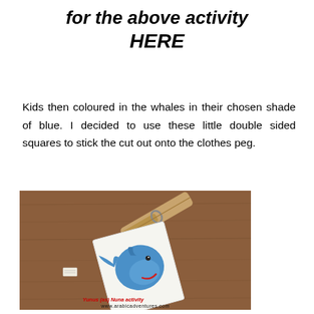for the above activity HERE
Kids then coloured in the whales in their chosen shade of blue. I decided to use these little double sided squares to stick the cut out onto the clothes peg.
[Figure (photo): Photo of a wooden clothes peg and a hand-drawn whale coloured in blue on a white card, placed on a wooden table surface. A small double-sided sticky square is visible to the left. Red caption text reads 'Yunus (as) Nuna activity' and url www.arabicadventures.com at the bottom.]